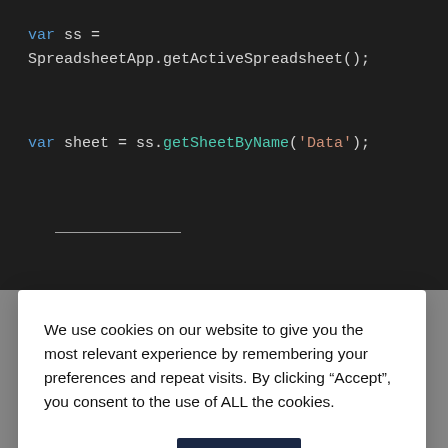[Figure (screenshot): Dark-themed code editor showing JavaScript code: 'var ss = SpreadsheetApp.getActiveSpreadsheet();' and 'var sheet = ss.getSheetByName(\'Data\');' with syntax highlighting]
We use cookies on our website to give you the most relevant experience by remembering your preferences and repeat visits. By clicking “Accept”, you consent to the use of ALL the cookies.
Cookie settings  ACCEPT
more information about your request.